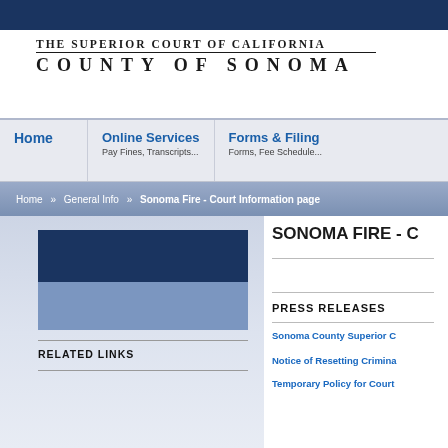THE SUPERIOR COURT OF CALIFORNIA COUNTY OF SONOMA
Home | Online Services - Pay Fines, Transcripts... | Forms & Filing - Forms, Fee Schedule...
Home » General Info » Sonoma Fire - Court Information page
[Figure (photo): Blue and steel-blue rectangular image block representing a court or fire-related photo]
RELATED LINKS
SONOMA FIRE - C
PRESS RELEASES
Sonoma County Superior C
Notice of Resetting Crimina
Temporary Policy for Court